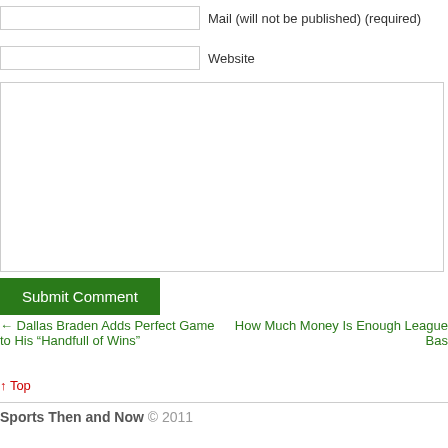Mail (will not be published) (required)
Website
Submit Comment
← Dallas Braden Adds Perfect Game to His “Handfull of Wins”
How Much Money Is Enough League Bas
↑ Top
Sports Then and Now © 2011